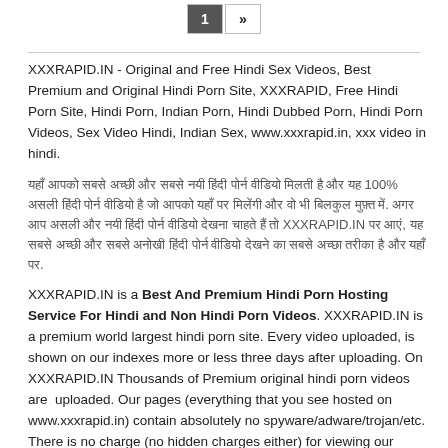1 »
XXXRAPID.IN - Original and Free Hindi Sex Videos, Best Premium and Original Hindi Porn Site, XXXRAPID, Free Hindi Porn Site, Hindi Porn, Indian Porn, Hindi Dubbed Porn, Hindi Porn Videos, Sex Video Hindi, Indian Sex, www.xxxrapid.in, xxx video in hindi.
[Hindi text block about 100% premium content and XXXRAPID.IN]
XXXRAPID.IN  is a Best And Premium Hindi Porn Hosting Service For Hindi and Non Hindi Porn Videos. XXXRAPID.IN is a premium world largest hindi porn site. Every video uploaded, is shown on our indexes more or less three days after uploading. On XXXRAPID.IN Thousands of Premium original hindi porn videos are  uploaded. Our pages (everything that you see hosted on www.xxxrapid.in) contain absolutely no spyware/adware/trojan/etc. There is no charge (no hidden charges either) for viewing our videos.
XXXRAPID Is 100% Premium   Hindi Porn Site In World, Hindi Porn, Indian Porn, Hindi Dubbed Porn, Hindi Porn Videos, Sex Video In Hindi, Indian Sex You Can Watch On  www xxxrapid in.
XXXRAPID.IN is a original and premium hindi porn site in the world which is rated with RTA label. Parents, you can easily block access to this site. Please